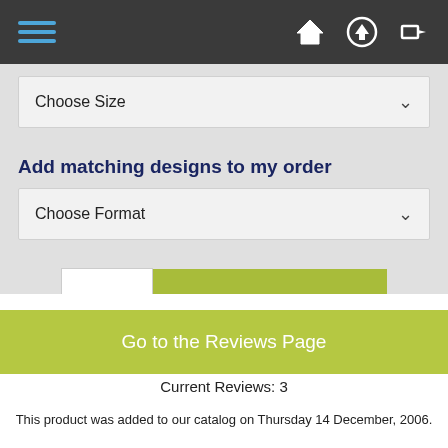Navigation bar with hamburger menu and icons
Choose Size
Add matching designs to my order
Choose Format
1  Add to Cart
Go to the Reviews Page
Current Reviews: 3
This product was added to our catalog on Thursday 14 December, 2006.